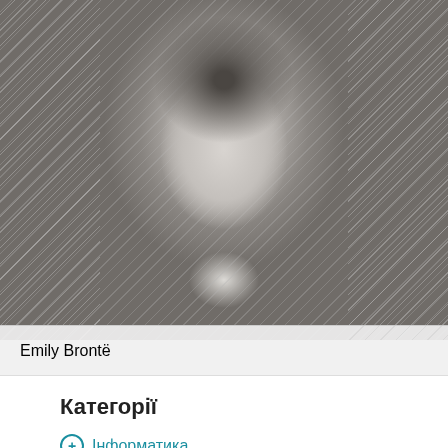[Figure (photo): Black and white portrait photograph of Emily Brontë, a woman with dark wavy hair parted in the middle, facing slightly forward. Diagonal stripe patterns appear on the left and right edges of the image.]
Emily Brontë
Категорії
Інформатика
Історія України
Алгебра
Англійська мова
Архітектура
Астрономія
Біографія
Біологія
Виховна робота